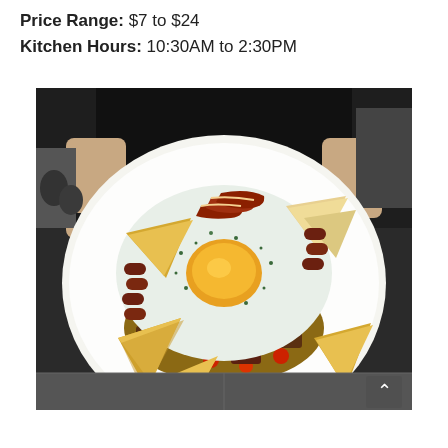Price Range: $7 to $24
Kitchen Hours: 10:30AM to 2:30PM
[Figure (photo): A person in black clothing holding a large white plate with a big breakfast spread: a large fried egg in the center with herb-seasoned egg white, surrounded by toast triangles, bacon strips, sausage links, sautéed peppers and vegetables, cherry tomatoes, and pita triangles. Taken in a kitchen/restaurant setting.]